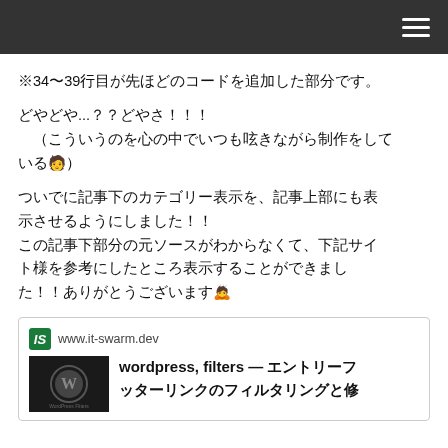※34〜39行目が先ほどのコードを追加した部分です。
どやどや...？？どやさ！！！
（こういうのを心の中でいつも呟きながら制作をしている🧑）
ついでに記事下のカテゴリー表示を、記事上部にも表示させるようにしました！！
この記事下部分の元ソースがわからなくて、下記サイト様を参考にしたところ表示することができました！！ありがとうございます🙇
[Figure (screenshot): Link card showing www.it-swarm.dev with title 'wordpress, filters – エントリーフッターリンクのフィルタリングと修']